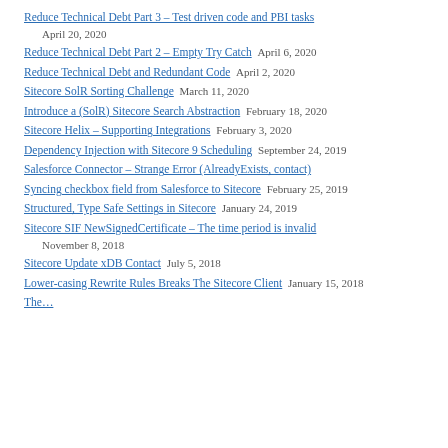Reduce Technical Debt Part 3 – Test driven code and PBI tasks  April 20, 2020
Reduce Technical Debt Part 2 – Empty Try Catch  April 6, 2020
Reduce Technical Debt and Redundant Code  April 2, 2020
Sitecore SolR Sorting Challenge  March 11, 2020
Introduce a (SolR) Sitecore Search Abstraction  February 18, 2020
Sitecore Helix – Supporting Integrations  February 3, 2020
Dependency Injection with Sitecore 9 Scheduling  September 24, 2019
Salesforce Connector – Strange Error (AlreadyExists, contact)
Syncing checkbox field from Salesforce to Sitecore  February 25, 2019
Structured, Type Safe Settings in Sitecore  January 24, 2019
Sitecore SIF NewSignedCertificate – The time period is invalid  November 8, 2018
Sitecore Update xDB Contact  July 5, 2018
Lower-casing Rewrite Rules Breaks The Sitecore Client  January 15, 2018
The…